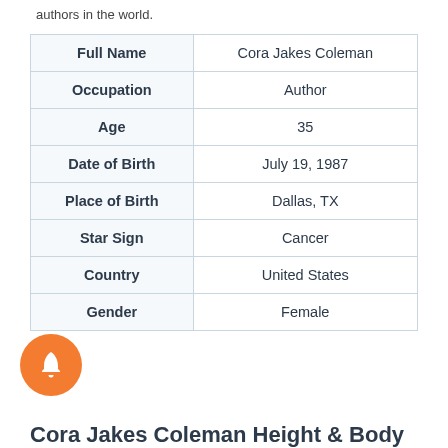authors in the world.
| Full Name | Cora Jakes Coleman |
| --- | --- |
| Occupation | Author |
| Age | 35 |
| Date of Birth | July 19, 1987 |
| Place of Birth | Dallas, TX |
| Star Sign | Cancer |
| Country | United States |
| Gender | Female |
Cora Jakes Coleman Height & Body...